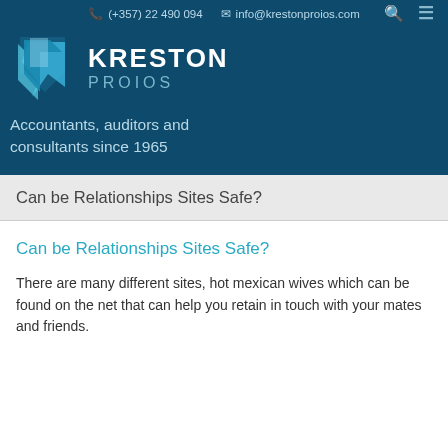(+357) 22 490 094   info@krestonproios.com
[Figure (logo): Kreston Proios logo with blue angular arrow/chevron graphic and text KRESTON PROIOS]
Accountants, auditors and consultants since 1965
Can be Relationships Sites Safe?
Can be Relationships Sites Safe?
There are many different sites, hot mexican wives which can be found on the net that can help you retain in touch with your mates and friends.